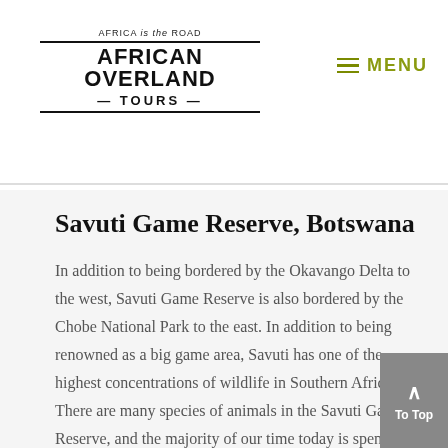AFRICA is the ROAD | AFRICAN OVERLAND TOURS | MENU
Savuti Game Reserve, Botswana
In addition to being bordered by the Okavango Delta to the west, Savuti Game Reserve is also bordered by the Chobe National Park to the east. In addition to being renowned as a big game area, Savuti has one of the highest concentrations of wildlife in Southern Africa. There are many species of animals in the Savuti Game Reserve, and the majority of our time today is spent traveling through the reserve. Expect some bumpy roads as we traverse this wilderness area in our 4×4 vehicles. We provide a variety of habitats, from wetlands